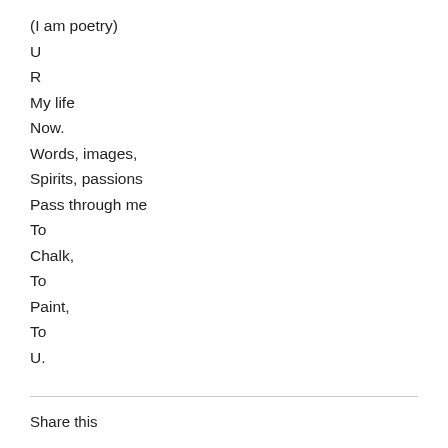(I am poetry)
U
R
My life
Now.
Words, images,
Spirits, passions
Pass through me
To
Chalk,
To
Paint,
To
U.
Share this